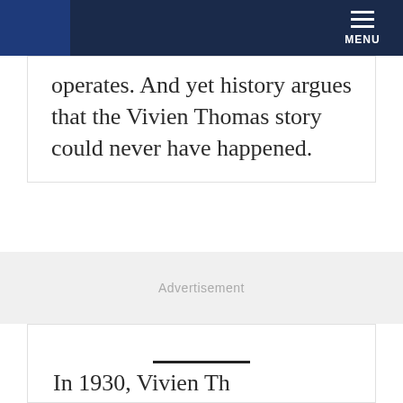MENU
operates. And yet history argues that the Vivien Thomas story could never have happened.
Advertisement
In 1930, Vivien Th...